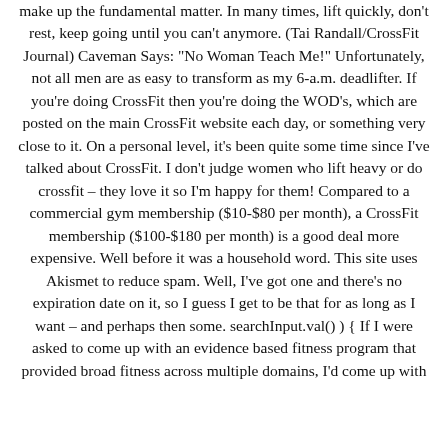make up the fundamental matter. In many times, lift quickly, don't rest, keep going until you can't anymore. (Tai Randall/CrossFit Journal) Caveman Says: "No Woman Teach Me!" Unfortunately, not all men are as easy to transform as my 6-a.m. deadlifter. If you're doing CrossFit then you're doing the WOD's, which are posted on the main CrossFit website each day, or something very close to it. On a personal level, it's been quite some time since I've talked about CrossFit. I don't judge women who lift heavy or do crossfit – they love it so I'm happy for them! Compared to a commercial gym membership ($10-$80 per month), a CrossFit membership ($100-$180 per month) is a good deal more expensive. Well before it was a household word. This site uses Akismet to reduce spam. Well, I've got one and there's no expiration date on it, so I guess I get to be that for as long as I want – and perhaps then some. searchInput.val() ) { If I were asked to come up with an evidence based fitness program that provided broad fitness across multiple domains, I'd come up with